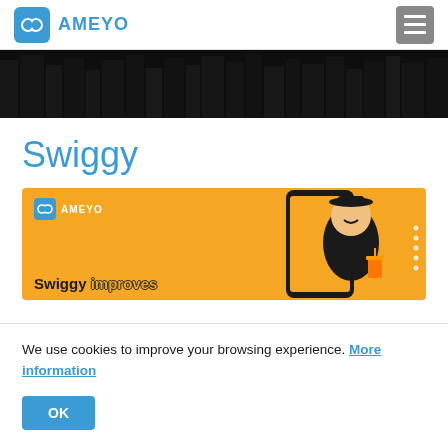AMEYO
[Figure (photo): Dark city street aerial view banner]
Swiggy
[Figure (illustration): Orange Ameyo promotional banner for Swiggy case study, showing Ameyo logo, a delivery person character with phone graphic, and text 'Swiggy improves']
We use cookies to improve your browsing experience. More information
OK